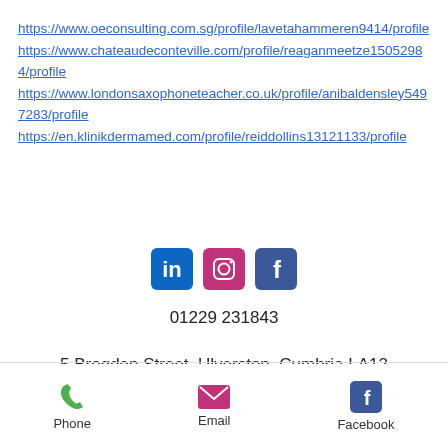https://www.oeconsulting.com.sg/profile/lavetahammeren9414/profile https://www.chateaudeconteville.com/profile/reaganmeetze15052984/profile https://www.londonsaxophoneteacher.co.uk/profile/anibaldensley5497283/profile https://en.klinikdermamed.com/profile/reiddollins13121133/profile
[Figure (infographic): Row of three social media icons: LinkedIn (blue), Instagram (pink/gradient), Facebook (dark blue)]
01229 231843
5 Brogden Street, Ulverston, Cumbria LA12 7AH
[Figure (infographic): Back-to-top button with upward arrow]
Phone  Email  Facebook